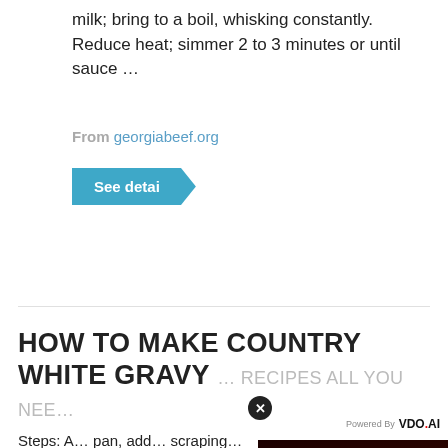milk; bring to a boil, whisking constantly. Reduce heat; simmer 2 to 3 minutes or until sauce …
From georgiabeef.org
See detai
HOW TO MAKE COUNTRY WHITE GRAVY …
Steps: A… pan, add… scraping… high hea…
From tu…
See d…
[Figure (screenshot): Video player overlay with dark red background showing 'No compatible source was found for this media.' text and 'IMMUNE SYSTEM HOW IT ACTUALLY WORKS' title with X close button. Powered by VDO.AI branding shown.]
COUNT… FASHIONED FRIED STEAK